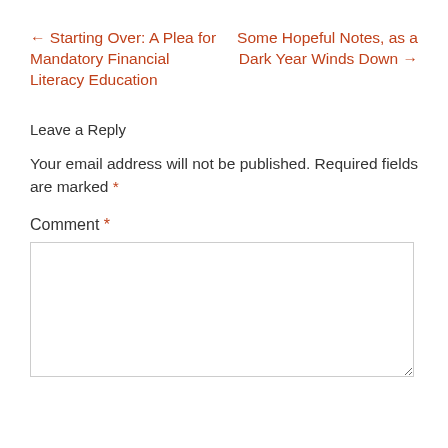← Starting Over: A Plea for Mandatory Financial Literacy Education
Some Hopeful Notes, as a Dark Year Winds Down →
Leave a Reply
Your email address will not be published. Required fields are marked *
Comment *